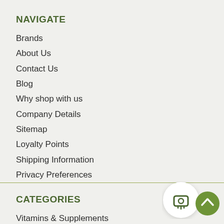NAVIGATE
Brands
About Us
Contact Us
Blog
Why shop with us
Company Details
Sitemap
Loyalty Points
Shipping Information
Privacy Preferences
CATEGORIES
Vitamins & Supplements